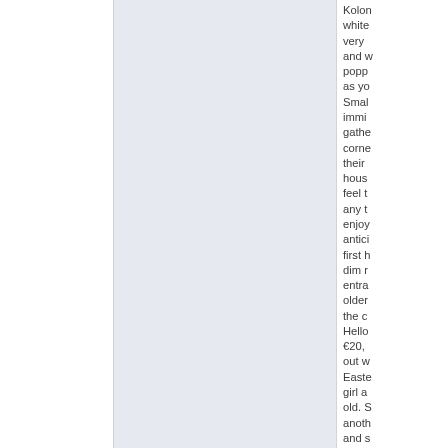Kolon white very and w popp as yo Smal immi gathe corne their hous feel t any t enjoy antici first h dim r entra older the c Hello €20, out w Easte girl a old. S anoth and s wrap